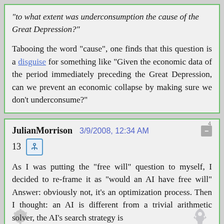“to what extent was underconsumption the cause of the Great Depression?”

Tabooing the word “cause”, one finds that this question is a disguise for something like “Given the economic data of the period immediately preceding the Great Depression, can we prevent an economic collapse by making sure we don’t underconsume?”
JulianMorrison  3/9/2008, 12:34 AM
13

As I was putting the “free will” question to myself, I decided to re-frame it as “would an AI have free will” Answer: obviously not, it’s an optimization process. Then I thought: an AI is different from a trivial arithmetic solver, the AI’s search strategy is